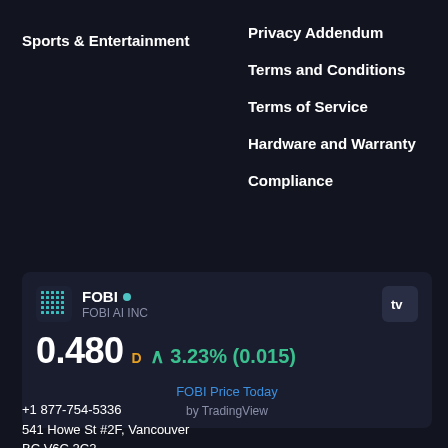Sports & Entertainment
Privacy Addendum
Terms and Conditions
Terms of Service
Hardware and Warranty
Compliance
[Figure (infographic): FOBI AI INC stock ticker widget showing symbol FOBI with price 0.480 up 3.23% (0.015), with TradingView branding. Includes FOBI Price Today link and 'by TradingView' attribution.]
+1 877-754-5336
541 Howe St #2F, Vancouver
BC V6C 2C2